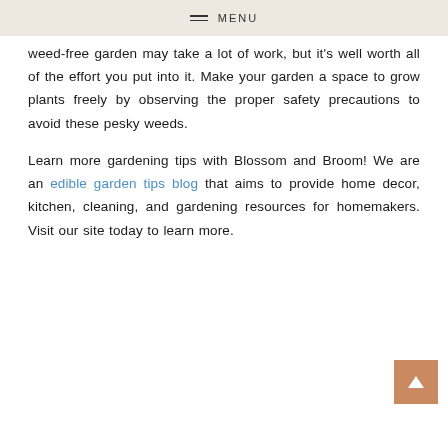MENU
weed-free garden may take a lot of work, but it's well worth all of the effort you put into it. Make your garden a space to grow plants freely by observing the proper safety precautions to avoid these pesky weeds.
Learn more gardening tips with Blossom and Broom! We are an edible garden tips blog that aims to provide home decor, kitchen, cleaning, and gardening resources for homemakers. Visit our site today to learn more.